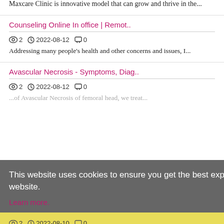Maxcare Clinic is innovative model that can grow and thrive in the...
Counseling Online In office | Remot..
2  2022-08-12  0
Addressing many people's health and other concerns and issues, I...
Avascular Necrosis - Symptoms, Diag..
2  2022-08-12  0
This website uses cookies to ensure you get the best experience on our website.
Learn more.
2  2022-08-10  0  Got it!
reNAD's NAD IV therapy for addiction has restored the brain for ...